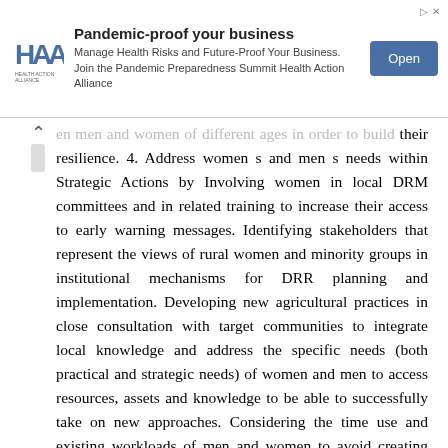[Figure (other): Advertisement banner for Health Action Alliance Pandemic Preparedness Summit with logo, text, and Open button]
en men and women of different ages in order to build their resilience. 4. Address women s and men s needs within Strategic Actions by Involving women in local DRM committees and in related training to increase their access to early warning messages. Identifying stakeholders that represent the views of rural women and minority groups in institutional mechanisms for DRR planning and implementation. Developing new agricultural practices in close consultation with target communities to integrate local knowledge and address the specific needs (both practical and strategic needs) of women and men to access resources, assets and knowledge to be able to successfully take on new approaches. Considering the time use and existing workloads of men and women to avoid creating additional work burden, particularly for women. Designing gender-responsive measures to ensure that hard-to-reach groups, such as women and youth heads of households, will have access to preparedness initiatives. 5.